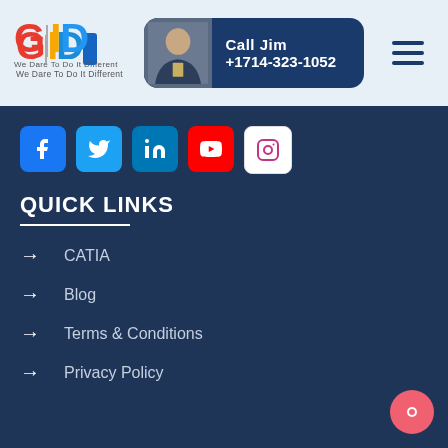[Figure (logo): GID logo with colorful letters and tagline 'We Dare To Do It Different']
[Figure (infographic): Call Jim button with photo, showing +1714-323-1052]
[Figure (infographic): Hamburger menu icon (three horizontal lines)]
[Figure (infographic): Social media icons row: Facebook, Twitter, LinkedIn, YouTube, Instagram]
QUICK LINKS
CATIA
Blog
Terms & Conditions
Privacy Policy